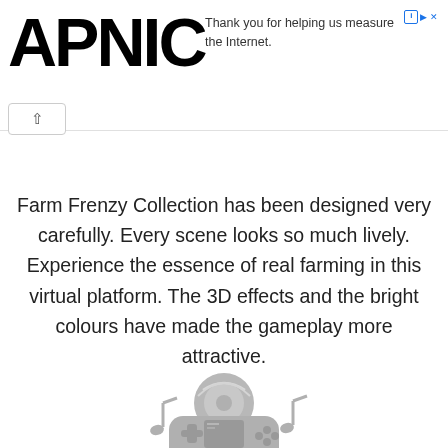APNIC
Thank you for helping us measure the Internet.
Farm Frenzy Collection has been designed very carefully. Every scene looks so much lively. Experience the essence of real farming in this virtual platform. The 3D effects and the bright colours have made the gameplay more attractive.
[Figure (illustration): Gray icon of a handheld game console (PSP-style) with musical notes on either side, suggesting audio/gaming content.]